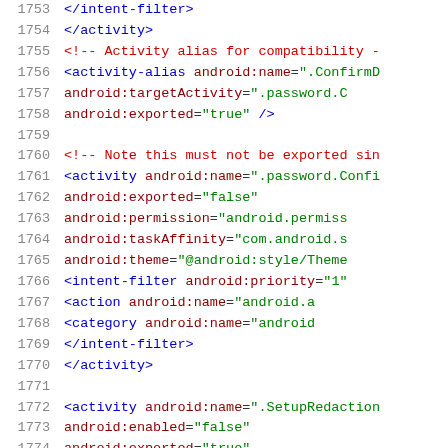Source code listing: AndroidManifest.xml, lines 1753-1774
XML code showing Android activity declarations including activity-alias and intent-filter elements